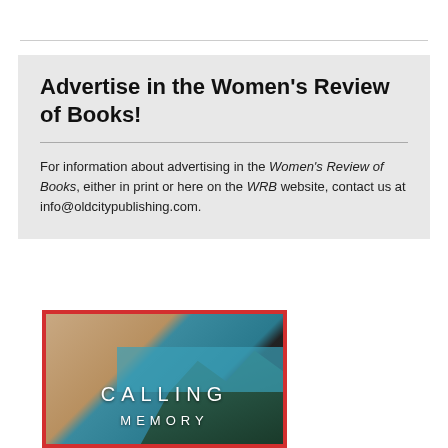Advertise in the Women's Review of Books!
For information about advertising in the Women's Review of Books, either in print or here on the WRB website, contact us at info@oldcitypublishing.com.
[Figure (illustration): Book cover of 'Calling Memory' with a red border, showing layered imagery of wood grain, teal water, dark mountains, and white text reading CALLING MEMORY]